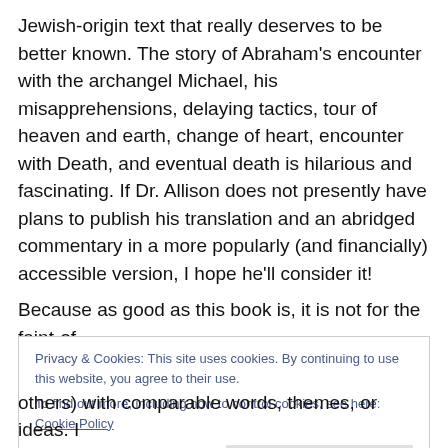Jewish-origin text that really deserves to be better known. The story of Abraham's encounter with the archangel Michael, his misapprehensions, delaying tactics, tour of heaven and earth, change of heart, encounter with Death, and eventual death is hilarious and fascinating. If Dr. Allison does not presently have plans to publish his translation and an abridged commentary in a more popularly (and financially) accessible version, I hope he'll consider it!
Because as good as this book is, it is not for the faint-of-
Privacy & Cookies: This site uses cookies. By continuing to use this website, you agree to their use.
To find out more, including how to control cookies, see here: Cookie Policy
others) with comparable words, themes, or ideas. I